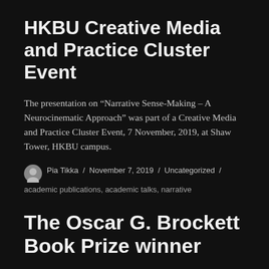HKBU Creative Media and Practice Cluster Event
The presentation on “Narrative Sense-Making – A Neurocinematic Approach” was part of a Creative Media and Practice Cluster Event, 7 November, 2019, at Shaw Tower, HKBU campus.
Pia Tikka / November 7, 2019 / Uncategorized / academic publications, academic talks, narrative
The Oscar G. Brockett Book Prize winner